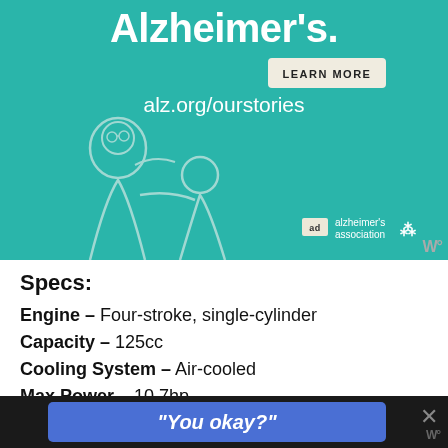[Figure (illustration): Alzheimer's Association advertisement banner with teal background, illustration of elderly man and younger person, 'LEARN MORE' button, 'alz.org/ourstories' URL, and Alzheimer's Association logo]
Specs:
Engine – Four-stroke, single-cylinder
Capacity – 125cc
Cooling System – Air-cooled
Max Power – 10.7hp
Weight – 114kg
"You okay?"